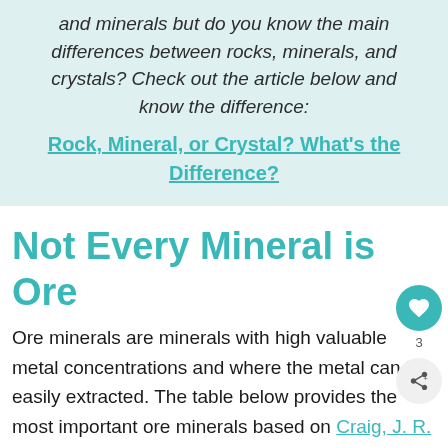and minerals but do you know the main differences between rocks, minerals, and crystals? Check out the article below and know the difference:
Rock, Mineral, or Crystal? What's the Difference?
Not Every Mineral is Ore
Ore minerals are minerals with high valuable metal concentrations and where the metal can be easily extracted. The table below provides the most important ore minerals based on Craig, J. R. (2001).
| Mineral | Mineral |
| --- | --- |